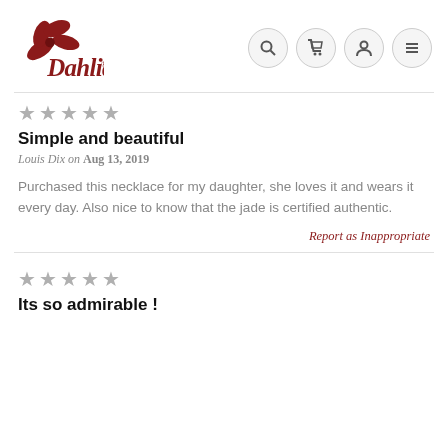Dahlia (logo with nav icons)
[Figure (logo): Dahlia brand logo with dark red floral/leaf graphic and cursive Dahlia text with registered trademark symbol, plus navigation icons (search, cart, user, menu)]
[Figure (other): 5 gray star rating icons]
Simple and beautiful
Louis Dix on Aug 13, 2019
Purchased this necklace for my daughter, she loves it and wears it every day. Also nice to know that the jade is certified authentic.
Report as Inappropriate
[Figure (other): 5 gray star rating icons]
Its so admirable !